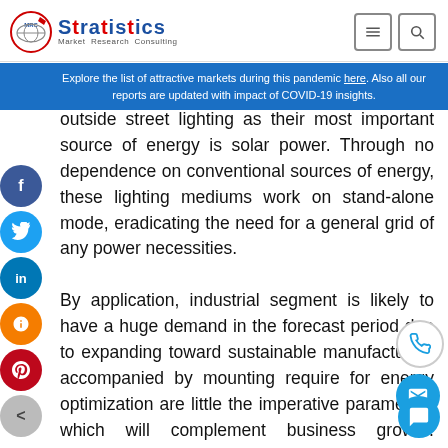Stratistics Market Research Consulting
Explore the list of attractive markets during this pandemic here. Also all our reports are updated with impact of COVID-19 insights.
outside street lighting as their most important source of energy is solar power. Through no dependence on conventional sources of energy, these lighting mediums work on stand-alone mode, eradicating the need for a general grid of any power necessities.
By application, industrial segment is likely to have a huge demand in the forecast period due to expanding toward sustainable manufacturing accompanied by mounting require for energy optimization are little the imperative parameters which will complement business growth. Additionally, net metering, feed-in tariffs, incentivization and extra favorable reforms will positively influence the business landscape.